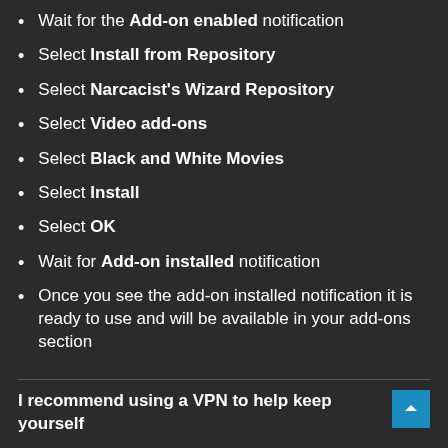Wait for the Add-on enabled notification
Select Install from Repository
Select Narcacist's Wizard Repository
Select Video add-ons
Select Black and White Movies
Select Install
Select OK
Wait for Add-on installed notification
Once you see the add-on installed notification it is ready to use and will be available in your add-ons section
I recommend using a VPN to help keep yourself